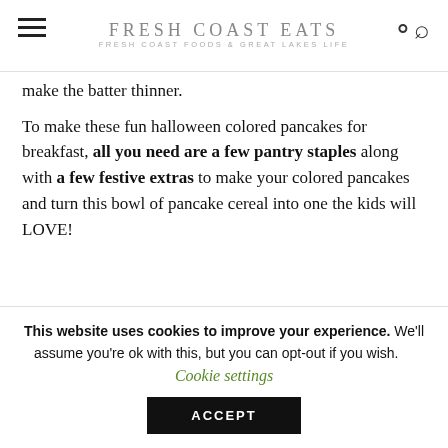FRESH COAST EATS — FRESH COAST FOODS & GREAT LAKES LIFE
make the batter thinner.
To make these fun halloween colored pancakes for breakfast, all you need are a few pantry staples along with a few festive extras to make your colored pancakes and turn this bowl of pancake cereal into one the kids will LOVE!
This website uses cookies to improve your experience. We'll assume you're ok with this, but you can opt-out if you wish.   Cookie settings
ACCEPT